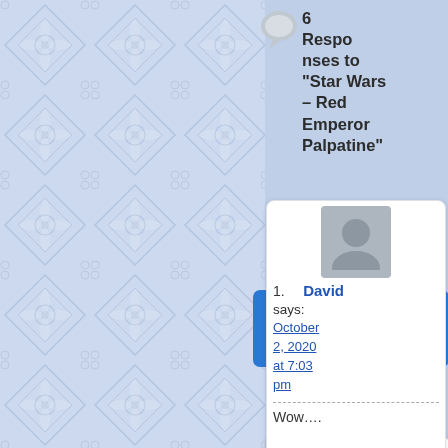[Figure (illustration): Decorative blue tiled background pattern with floral/geometric motifs covering the left portion of the page]
6 Responses to “Star Wars – Red Emperor Palpatine”
Comments (6)
[Figure (photo): Generic grey avatar/silhouette placeholder image for user David]
1. David says: October 2, 2020 at 7:03 pm

Wow....

I just noted